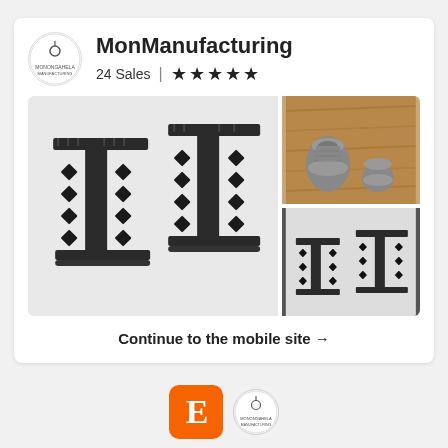MonManufacturing
24 Sales  ★★★★★
[Figure (photo): Main product photo showing dark metal I-beam style table legs/stands with diamond lattice pattern, two units side by side, white background]
[Figure (photo): Top right small photo: metal threaded pipe fittings on wood surface]
[Figure (photo): Bottom right small photo: smaller dark metal I-beam stands, similar to main photo]
Continue to the mobile site →
[Figure (logo): Etsy orange square logo with E letter, next to MonManufacturing circular shop logo]
Shop update…